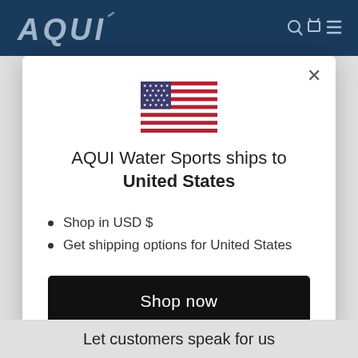[Figure (screenshot): Navy top navigation bar with AQUI Water Sports logo on left and icons on right]
[Figure (screenshot): Modal dialog with US flag, shipping destination info, bullet list, shop now button, and change shipping country link]
AQUI Water Sports ships to United States
Shop in USD $
Get shipping options for United States
Shop now
Change shipping country
Let customers speak for us